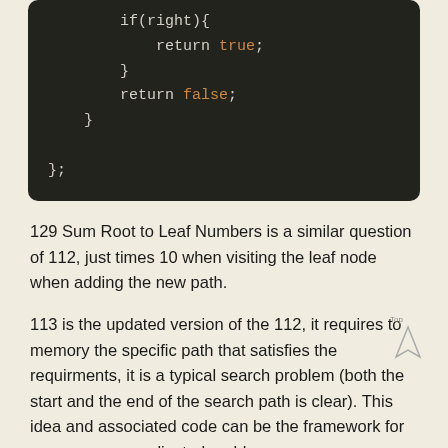[Figure (screenshot): Code block showing end of a JavaScript/C++ function with if(right){ return true; } return false; }; closing braces on dark background]
129 Sum Root to Leaf Numbers is a similar question of 112, just times 10 when visiting the leaf node when adding the new path.
113 is the updated version of the 112, it requires to memory the specific path that satisfies the requirments, it is a typical search problem (both the start and the end of the search path is clear). This idea and associated code can be the framework for many more complicated problem.